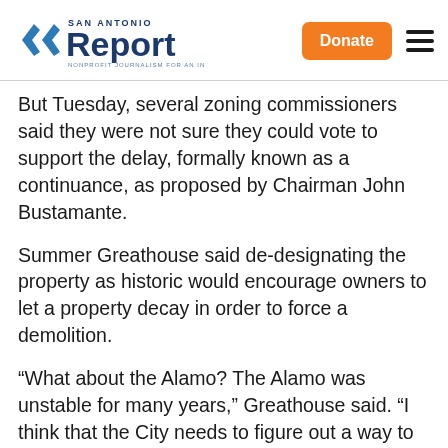San Antonio Report — Donate
But Tuesday, several zoning commissioners said they were not sure they could vote to support the delay, formally known as a continuance, as proposed by Chairman John Bustamante.
Summer Greathouse said de-designating the property as historic would encourage owners to let a property decay in order to force a demolition.
“What about the Alamo? The Alamo was unstable for many years,” Greathouse said. “I think that the City needs to figure out a way to incentivize the correct behavior. So if I do support the continuance, I do expect that the public safety